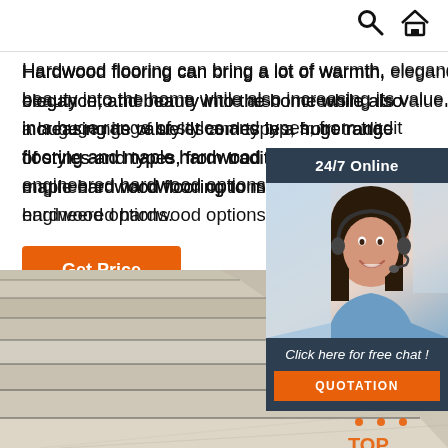Search | Home
Hardwood flooring can bring a lot of warmth, elegance, and beauty into the home while also increasing its value. It comes in a huge range of styles and types, from traditional flooring and maple hardwood flooring to more engineered hardwood options.
Get Price
[Figure (infographic): 24/7 Online chat widget with a woman wearing a headset smiling, a 'Click here for free chat!' message, and a QUOTATION button]
[Figure (photo): Close-up photo of light-colored hardwood/engineered wood flooring planks seen from an angle with a TOP logo watermark in the lower right]